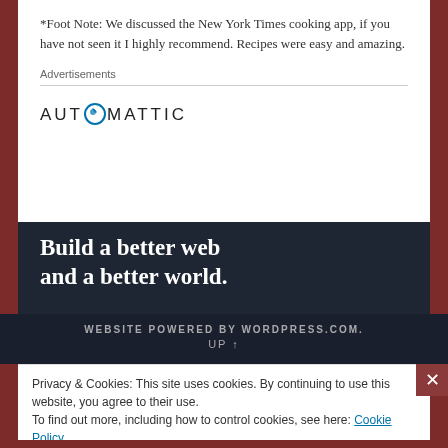*Foot Note: We discussed the New York Times cooking app, if you have not seen it I highly recommend. Recipes were easy and amazing.
Advertisements
[Figure (logo): Automattic logo with circular 'O' icon and uppercase spaced lettering]
Build a better web and a better world.
WEBSITE POWERED BY WORDPRESS.COM. UP ↑
Privacy & Cookies: This site uses cookies. By continuing to use this website, you agree to their use.
To find out more, including how to control cookies, see here: Cookie Policy